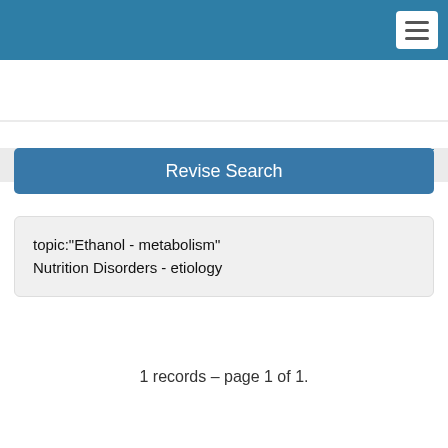[Figure (screenshot): Top navigation bar with teal/blue background and hamburger menu button on the right]
You are here: Library   Catalogue Search   Search Results   My List: 0 Items
Revise Search
topic:"Ethanol - metabolism" Nutrition Disorders - etiology
1 records – page 1 of 1.
Prev  1  Next